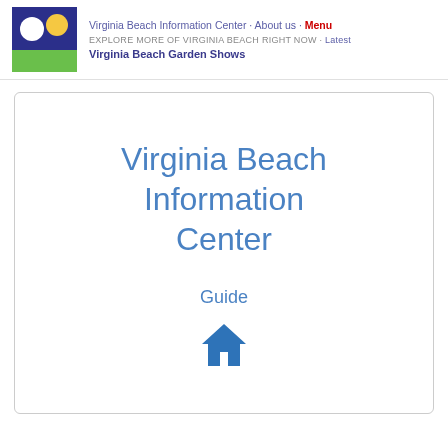Virginia Beach Information Center · About us · Menu
EXPLORE MORE OF VIRGINIA BEACH RIGHT NOW · Latest
Virginia Beach Garden Shows
Virginia Beach Information Center
Guide
[Figure (illustration): Home/house icon in blue]